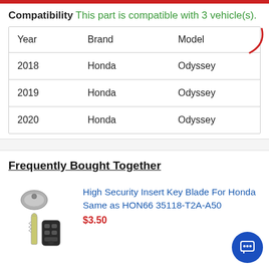Compatibility This part is compatible with 3 vehicle(s).
| Year | Brand | Model |
| --- | --- | --- |
| 2018 | Honda | Odyssey |
| 2019 | Honda | Odyssey |
| 2020 | Honda | Odyssey |
Frequently Bought Together
[Figure (photo): High Security Insert Key Blade for Honda, shown with a key fob]
High Security Insert Key Blade For Honda Same as HON66 35118-T2A-A50 $3.50